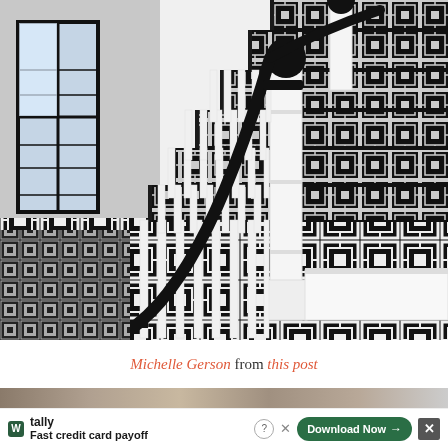[Figure (photo): Interior photo of an elegant staircase with black and white Greek key patterned carpet/runner on stairs and floor, white newel posts and balusters, black handrail, and a window with black frames on the left side. The design is bold monochromatic with classic-style detailing.]
Michelle Gerson from this post
[Figure (photo): Partial view of another photo below (partially cut off at bottom of page)]
tally - Fast credit card payoff - Download Now